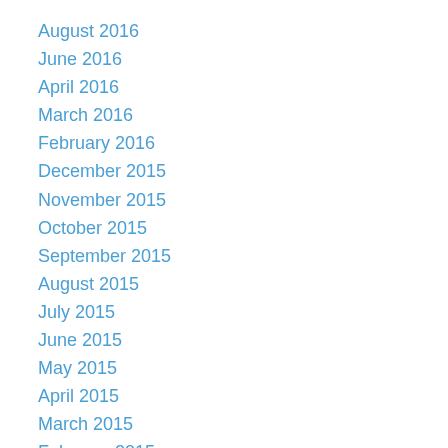August 2016
June 2016
April 2016
March 2016
February 2016
December 2015
November 2015
October 2015
September 2015
August 2015
July 2015
June 2015
May 2015
April 2015
March 2015
February 2015
January 2015
December 2014
November 2014
October 2014